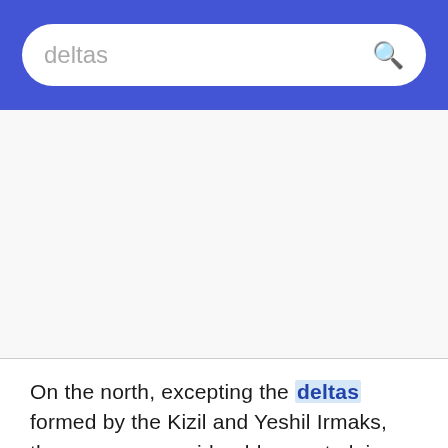deltas
On the north, excepting the deltas formed by the Kizil and Yeshil Irmaks, there are no considerable coast plains, no good harbours except Sinope and